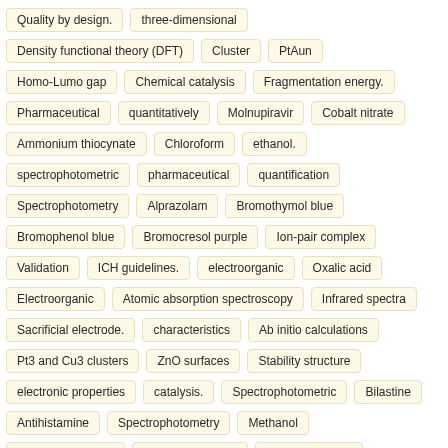Quality by design.
three-dimensional
Density functional theory (DFT)
Cluster
PtAun
Homo-Lumo gap
Chemical catalysis
Fragmentation energy.
Pharmaceutical
quantitatively
Molnupiravir
Cobalt nitrate
Ammonium thiocynate
Chloroform
ethanol.
spectrophotometric
pharmaceutical
quantification
Spectrophotometry
Alprazolam
Bromothymol blue
Bromophenol blue
Bromocresol purple
Ion-pair complex
Validation
ICH guidelines.
electroorganic
Oxalic acid
Electroorganic
Atomic absorption spectroscopy
Infrared spectra
Sacrificial electrode.
characteristics
Ab initio calculations
Pt3 and Cu3 clusters
ZnO surfaces
Stability structure
electronic properties
catalysis.
Spectrophotometric
Bilastine
Antihistamine
Spectrophotometry
Methanol
method validation.
gamma-irradiated
anti-proliferative